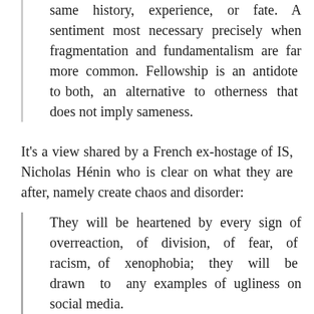same history, experience, or fate. A sentiment most necessary precisely when fragmentation and fundamentalism are far more common. Fellowship is an antidote to both, an alternative to otherness that does not imply sameness.
It's a view shared by a French ex-hostage of IS, Nicholas Hénin who is clear on what they are after, namely create chaos and disorder:
They will be heartened by every sign of overreaction, of division, of fear, of racism, of xenophobia; they will be drawn to any examples of ugliness on social media.
Andrew Neil on This Week doesn't think much of their chances and outlined what's at stake in a blistering two